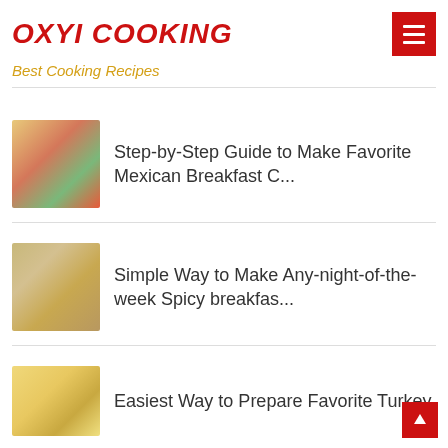OXYI COOKING
Best Cooking Recipes
Step-by-Step Guide to Make Favorite Mexican Breakfast C...
Simple Way to Make Any-night-of-the-week Spicy breakfas...
Easiest Way to Prepare Favorite Turkey